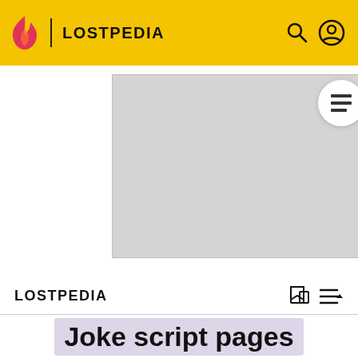LOSTPEDIA
[Figure (screenshot): Advertisement placeholder (grey box)]
ADVERTISEMENT
LOSTPEDIA
Joke script pages
Parody Alert! This article's subject matter is parodical and non-canon in nature (but distinct from hoax and serious fanon material) This material is generally fan-created, but